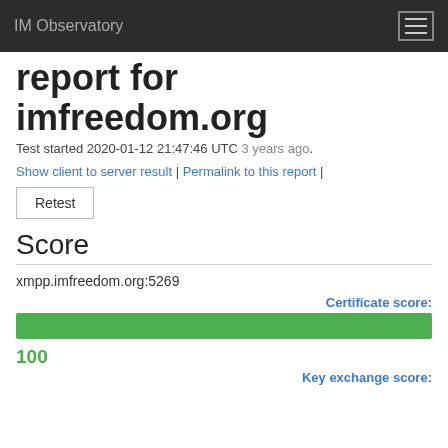IM Observatory
report for imfreedom.org
Test started 2020-01-12 21:47:46 UTC 3 years ago.
Show client to server result | Permalink to this report |
Retest
Score
xmpp.imfreedom.org:5269
Certificate score:
[Figure (bar-chart): Full-width green progress bar representing a score of 100]
100
Key exchange score: